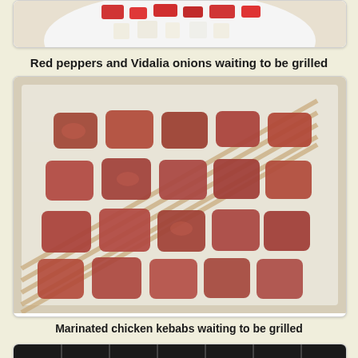[Figure (photo): Red peppers and Vidalia onions cut into pieces on a white plate, waiting to be grilled]
Red peppers and Vidalia onions waiting to be grilled
[Figure (photo): Marinated chicken kebabs on wooden skewers stacked on a white cutting board, waiting to be grilled]
Marinated chicken kebabs waiting to be grilled
[Figure (photo): Vegetables including onions and red peppers on grill grates with dark grill in background]